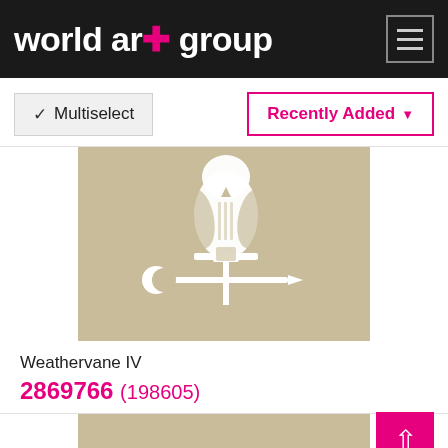world art group
Multiselect
Recently Added
[Figure (illustration): Beige/tan background artwork showing a white silhouette of an owl perched on a weathervane with a crescent moon and arrow, titled Weathervane IV]
Weathervane IV
2869766 (198605)
[Figure (illustration): Partial view of a second tan/beige artwork, partially cropped at bottom of page]